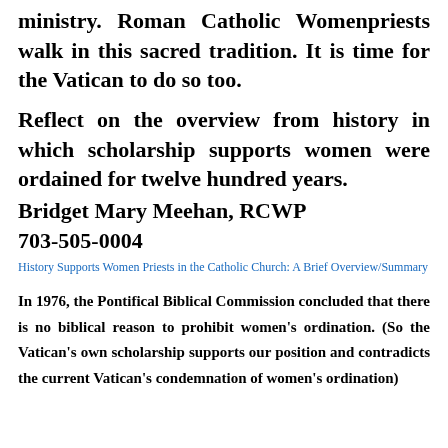ministry. Roman Catholic Womenpriests walk in this sacred tradition. It is time for the Vatican to do so too.
Reflect on the overview from history in which scholarship supports women were ordained for twelve hundred years.
Bridget Mary Meehan, RCWP
703-505-0004
History Supports Women Priests in the Catholic Church: A Brief Overview/Summary
In 1976, the Pontifical Biblical Commission concluded that there is no biblical reason to prohibit women's ordination. (So the Vatican's own scholarship supports our position and contradicts the current Vatican's condemnation of women's ordination)